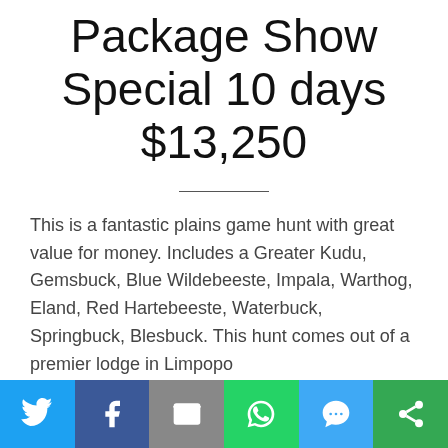Package Show Special 10 days $13,250
This is a fantastic plains game hunt with great value for money. Includes a Greater Kudu, Gemsbuck, Blue Wildebeeste, Impala, Warthog, Eland, Red Hartebeeste, Waterbuck, Springbuck, Blesbuck. This hunt comes out of a premier lodge in Limpopo…